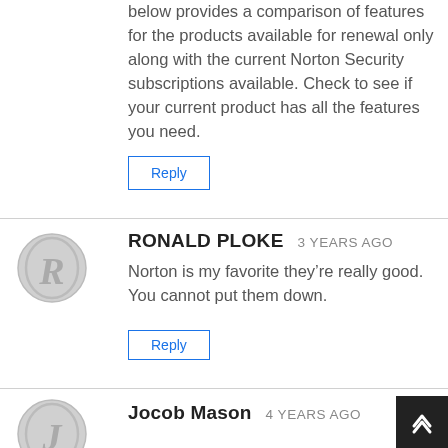below provides a comparison of features for the products available for renewal only along with the current Norton Security subscriptions available. Check to see if your current product has all the features you need.
Reply
RONALD PLOKE  3 YEARS AGO
Norton is my favorite they’re really good. You cannot put them down.
Reply
Jocob Mason  4 YEARS AGO